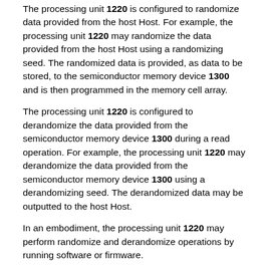The processing unit 1220 is configured to randomize data provided from the host Host. For example, the processing unit 1220 may randomize the data provided from the host Host using a randomizing seed. The randomized data is provided, as data to be stored, to the semiconductor memory device 1300 and is then programmed in the memory cell array.
The processing unit 1220 is configured to derandomize the data provided from the semiconductor memory device 1300 during a read operation. For example, the processing unit 1220 may derandomize the data provided from the semiconductor memory device 1300 using a derandomizing seed. The derandomized data may be outputted to the host Host.
In an embodiment, the processing unit 1220 may perform randomize and derandomize operations by running software or firmware.
The host interface 1230 includes a protocol for performing data exchange between the host Host and the controller 1200. In an example of an embodiment, the controller 1200 is configured to communicate with the host Host through